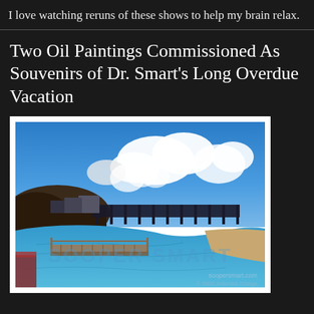I love watching reruns of these shows to help my brain relax.
Two Oil Paintings Commissioned As Souvenirs of Dr. Smart's Long Overdue Vacation
[Figure (illustration): Oil painting of a geothermal or industrial scene featuring bright blue water/lagoon in the foreground with a wooden dock/walkway, industrial structures and steam clouds rising against a blue sky with white clouds. Watermark text 'SOOPER SMART' overlaid. Copyright '© 2000 Jedediah Design' and 'soopersmart.com' shown in bottom right.]